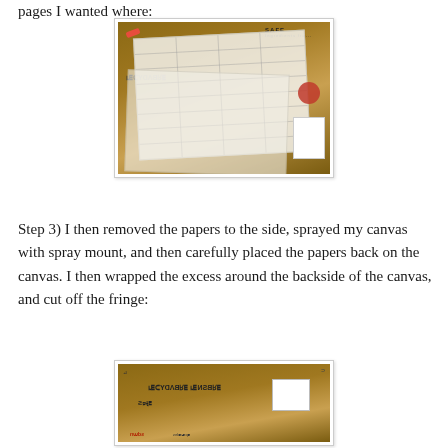pages I wanted where:
[Figure (photo): Photo of dictionary/book pages laid out on a cardboard box surface, showing grid-like arrangement of torn pages with text visible. A red scissors handle is visible in the upper left. Cardboard box shows 'SAFE Ingredients' and 'RECYCLABLE' text.]
Step 3) I then removed the papers to the side, sprayed my canvas with spray mount, and then carefully placed the papers back on the canvas. I then wrapped the excess around the backside of the canvas, and cut off the fringe:
[Figure (photo): Photo showing a white canvas placed on cardboard box surface, with packaging materials around it. Box shows 'REUSABLE', 'RECYCLABLE', 'SAFE' text and UPS/shipping labels.]